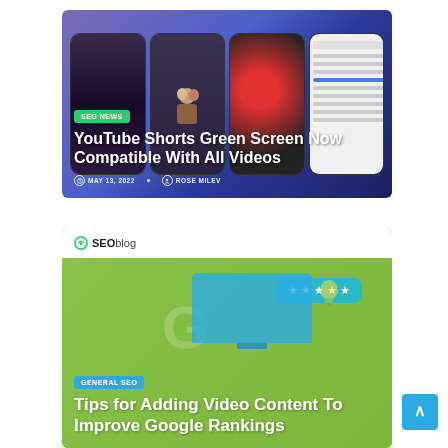[Figure (screenshot): Blog post card showing four smartphone screens with YouTube Shorts content against a blue/purple gradient background. Shows SEO NEWS badge, title 'YouTube Shorts Green Screen Now Compatible With All Videos', date MAY 13, 2022, author ROSE MILEV.]
[Figure (screenshot): Blog post card with green background showing SEOblog logo, star rating bubble, GENERAL SEO badge, and title 'Tips for Adding Video Content To Improve Google Rankings'.]